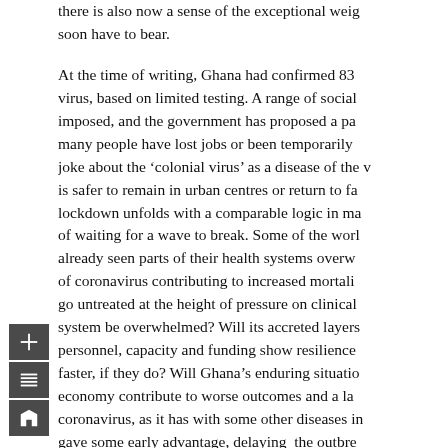there is also now a sense of the exceptional weight they will soon have to bear.
At the time of writing, Ghana had confirmed 83 cases of the virus, based on limited testing. A range of social distancing measures imposed, and the government has proposed a package to assist many people have lost jobs or been temporarily laid off. People joke about the 'colonial virus' as a disease of the wealthy, debate is safer to remain in urban centres or return to family homes, as lockdown unfolds with a comparable logic in many countries: one of waiting for a wave to break. Some of the world's richest countries already seen parts of their health systems overwhelmed, with lack of coronavirus contributing to increased mortality as other conditions go untreated at the height of pressure on clinical resources. Will Ghana's system be overwhelmed? Will its accreted layers of health infrastructure, personnel, capacity and funding show resilience, and will it recover faster, if they do? Will Ghana's enduring situation as a low-income economy contribute to worse outcomes and a lack of capacity to respond coronavirus, as it has with some other diseases in the past, or did this gave some early advantage, delaying the outbreak due to Ghana's relative isolation from international travel and t